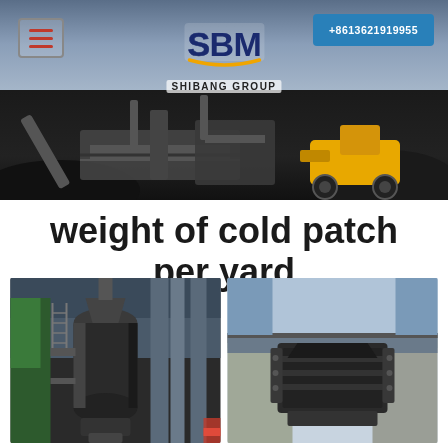[Figure (photo): SBM Shibang Group banner image showing industrial mining/crushing machinery and equipment operating at a site with dark coal piles, a yellow loader, and cloudy sky. Hamburger menu icon top-left, phone number badge top-right.]
weight of cold patch per yard
[Figure (photo): Industrial mill or grinder equipment inside a factory building, showing large cylindrical machinery with pipes.]
[Figure (photo): Industrial machinery or crusher equipment mounted on concrete structure, showing mechanical assembly from below.]